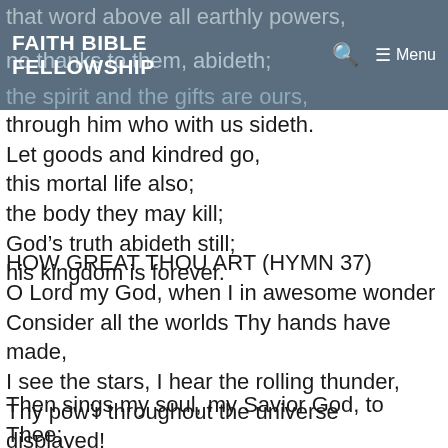Faith Bible Fellowship
that word above all earthly powers,
no thanks to them abideth;
the Spirit and the gifts are ours,
through him who with us sideth.
Let goods and kindred go,
this mortal life also;
the body they may kill;
God's truth abideth still;
his kingdom is forever.
HOW GREAT THOU ART (HYMN 37)
O Lord my God, when I in awesome wonder
Consider all the worlds Thy hands have made,
I see the stars, I hear the rolling thunder,
Thy pow'r throughout the universe displayed!
Then sings my soul, my Savior God, to Thee;
How great Thou art, how great Thou art!